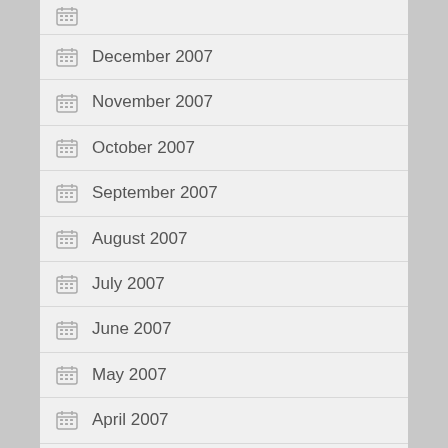December 2007
November 2007
October 2007
September 2007
August 2007
July 2007
June 2007
May 2007
April 2007